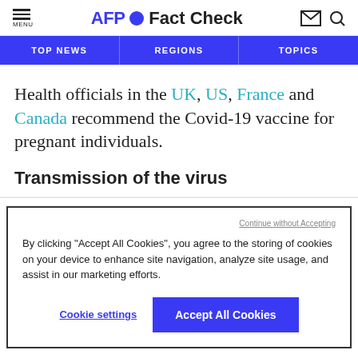MENU  AFP Fact Check
TOP NEWS  REGIONS  TOPICS
Health officials in the UK, US, France and Canada recommend the Covid-19 vaccine for pregnant individuals.
Transmission of the virus
Continue without Accepting
By clicking “Accept All Cookies”, you agree to the storing of cookies on your device to enhance site navigation, analyze site usage, and assist in our marketing efforts.
Cookie settings  Accept All Cookies